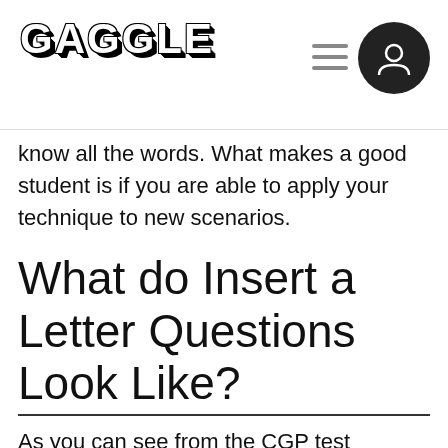GAGGLE
know all the words. What makes a good student is if you are able to apply your technique to new scenarios.
What do Insert a Letter Questions Look Like?
As you can see from the CGP test example below, the Insert a Letter question is in the following format: